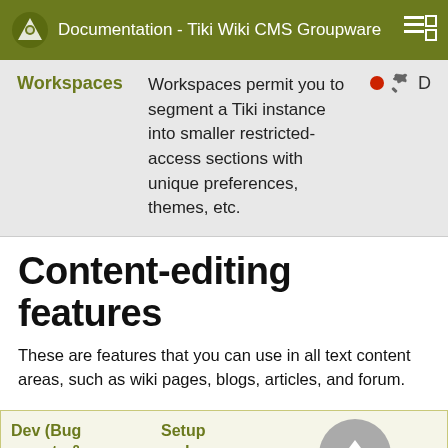Documentation - Tiki Wiki CMS Groupware
| Feature name | Description | Dev (Bug reports & Feature requests) | Setup and admin | U |
| --- | --- | --- | --- | --- |
| Workspaces | Workspaces permit you to segment a Tiki instance into smaller restricted-access sections with unique preferences, themes, etc. | ●🔧 | D |  |
Content-editing features
These are features that you can use in all text content areas, such as wiki pages, blogs, articles, and forum.
| Feature name | Description | Dev (Bug reports & Feature requests) | Setup and admin | U |
| --- | --- | --- | --- | --- |